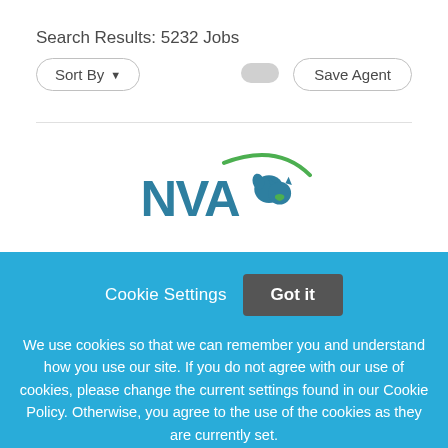Search Results: 5232 Jobs
Sort By
[Figure (logo): NVA (National Veterinary Associates) logo with teal dog and cat silhouette and green arc]
Cookie Settings
Got it
We use cookies so that we can remember you and understand how you use our site. If you do not agree with our use of cookies, please change the current settings found in our Cookie Policy. Otherwise, you agree to the use of the cookies as they are currently set.